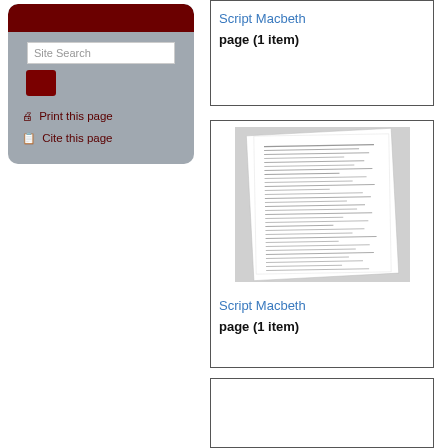[Figure (screenshot): Site search widget with dark red header bar, search input field, dark red button, and links for Print this page and Cite this page]
Script Macbeth
page (1 item)
[Figure (photo): Thumbnail image of a script page for Macbeth, showing typed text on white paper, slightly angled]
Script Macbeth
page (1 item)